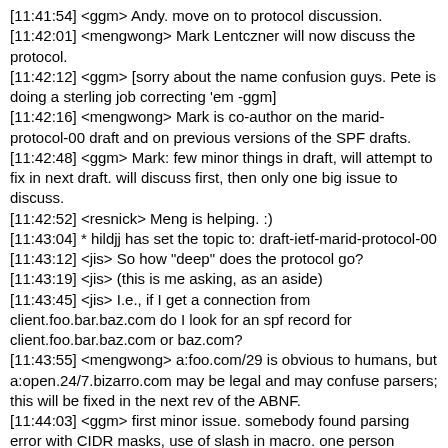[11:41:54] <ggm> Andy. move on to protocol discussion.
[11:42:01] <mengwong> Mark Lentczner will now discuss the protocol.
[11:42:12] <ggm> [sorry about the name confusion guys. Pete is doing a sterling job correcting 'em -ggm]
[11:42:16] <mengwong> Mark is co-author on the marid-protocol-00 draft and on previous versions of the SPF drafts.
[11:42:48] <ggm> Mark: few minor things in draft, will attempt to fix in next draft. will discuss first, then only one big issue to discuss.
[11:42:52] <resnick> Meng is helping. :)
[11:43:04] * hildjj has set the topic to: draft-ietf-marid-protocol-00
[11:43:12] <jis> So how "deep" does the protocol go?
[11:43:19] <jis> (this is me asking, as an aside)
[11:43:45] <jis> I.e., if I get a connection from client.foo.bar.baz.com do I look for an spf record for client.foo.bar.baz.com or baz.com?
[11:43:55] <mengwong> a:foo.com/29 is obvious to humans, but a:open.24/7.bizarro.com may be legal and may confuse parsers; this will be fixed in the next rev of the ABNF.
[11:44:03] <ggm> first minor issue. somebody found parsing error with CIDR masks, use of slash in macro. one person found, will work with them to fix. issues with EBNF in grammer. ok back up. Protocol document, clear intent is that this is the mechanics doc. dont want to get into issues apart from mechanics. only defines